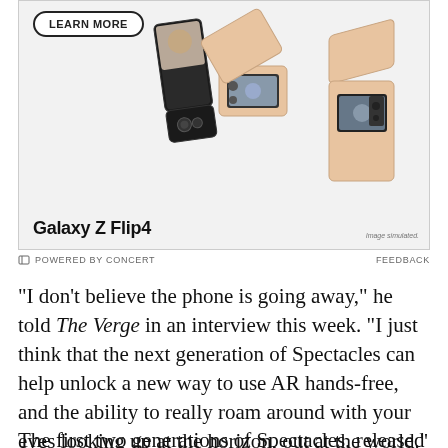[Figure (photo): Advertisement for Samsung Galaxy Z Flip4 showing three foldable smartphones in rose gold color. A 'LEARN MORE' button with rounded border is shown top-left. Brand name 'Galaxy Z Flip4' appears at bottom left. 'Image simulated.' text at bottom right.]
POWERED BY CONCERT    FEEDBACK
“I don’t believe the phone is going away,” he told The Verge in an interview this week. “I just think that the next generation of Spectacles can help unlock a new way to use AR hands-free, and the ability to really roam around with your eyes looking up at the horizon, out at the world.”
The first two generations of Spectacles, released in